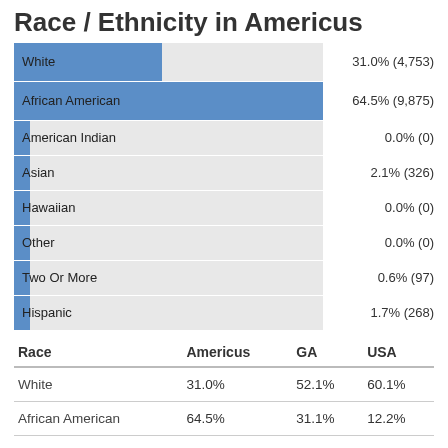Race / Ethnicity in Americus
[Figure (bar-chart): Race / Ethnicity in Americus]
| Race | Americus | GA | USA |
| --- | --- | --- | --- |
| White | 31.0% | 52.1% | 60.1% |
| African American | 64.5% | 31.1% | 12.2% |
| American Indian | 0.0% | 0.2% | 0.6% |
| Asian | 2.1% | 4.1% | 5.6% |